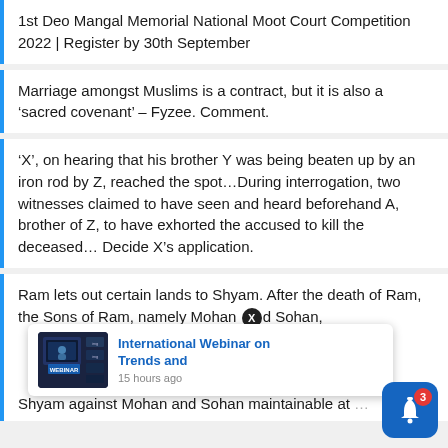1st Deo Mangal Memorial National Moot Court Competition 2022 | Register by 30th September
Marriage amongst Muslims is a contract, but it is also a ‘sacred covenant’ – Fyzee. Comment.
‘X’, on hearing that his brother Y was being beaten up by an iron rod by Z, reached the spot…During interrogation, two witnesses claimed to have seen and heard beforehand A, brother of Z, to have exhorted the accused to kill the deceased… Decide X’s application.
Ram lets out certain lands to Shyam. After the death of Ram, the Sons of Ram, namely Mohan and Sohan, [ground of] [Shyam ins] [suit filed] Shyam against Mohan and Sohan maintainable at [...]
[Figure (screenshot): Popup notification bar: 'International Webinar on Trends and' with '15 hours ago' timestamp and a webinar thumbnail image.]